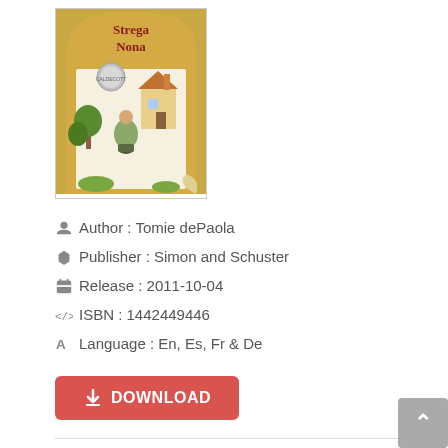[Figure (illustration): Book cover of 'Strega Nona' showing a yellow/gold background with an illustration of an old woman and a house, with a Caldecott medal. Title 'Strega Nona' in red text.]
Author : Tomie dePaola
Publisher : Simon and Schuster
Release : 2011-10-04
ISBN : 1442449446
Language : En, Es, Fr & De
DOWNLOAD
Book Description :
In this e-book edition, Tomie dePaola retells his classic story against a charming musical score. Strega Nona